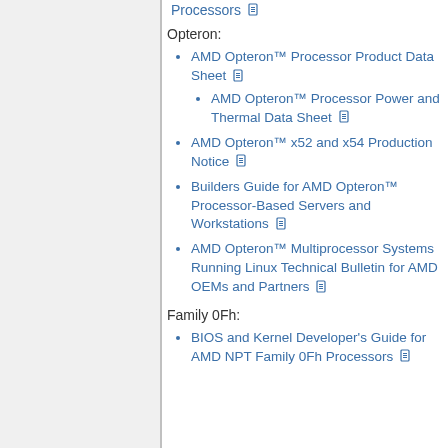Processors
Opteron:
AMD Opteron™ Processor Product Data Sheet
AMD Opteron™ Processor Power and Thermal Data Sheet
AMD Opteron™ x52 and x54 Production Notice
Builders Guide for AMD Opteron™ Processor-Based Servers and Workstations
AMD Opteron™ Multiprocessor Systems Running Linux Technical Bulletin for AMD OEMs and Partners
Family 0Fh:
BIOS and Kernel Developer's Guide for AMD NPT Family 0Fh Processors